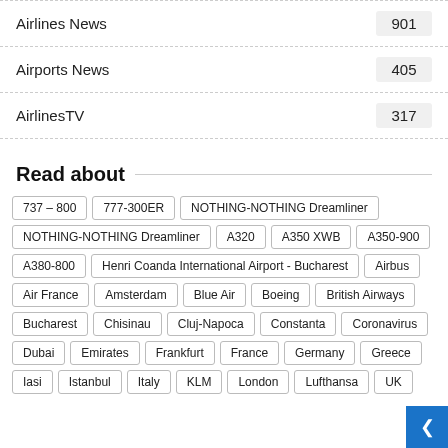Airlines News 901
Airports News 405
AirlinesTV 317
Read about
737 – 800
777-300ER
NOTHING-NOTHING Dreamliner
NOTHING-NOTHING Dreamliner
A320
A350 XWB
A350-900
A380-800
Henri Coanda International Airport - Bucharest
Airbus
Air France
Amsterdam
Blue Air
Boeing
British Airways
Bucharest
Chisinau
Cluj-Napoca
Constanta
Coronavirus
Dubai
Emirates
Frankfurt
France
Germany
Greece
Iasi
Istanbul
Italy
KLM
London
Lufthansa
UK